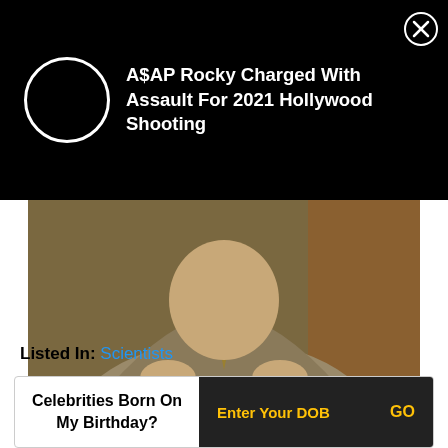[Figure (screenshot): Black notification banner with white circle icon on left and text 'A$AP Rocky Charged With Assault For 2021 Hollywood Shooting' on right with X close button]
[Figure (photo): Photo of an elderly man in a beige/tan suit jacket with a patterned tie, facing slightly down, with bookshelves in background]
[Figure (infographic): Blue upvote button and red downvote button with counts of 2 and 2 below them respectively]
Listed In: Scientists
Celebrities Born On My Birthday? Enter Your DOB GO